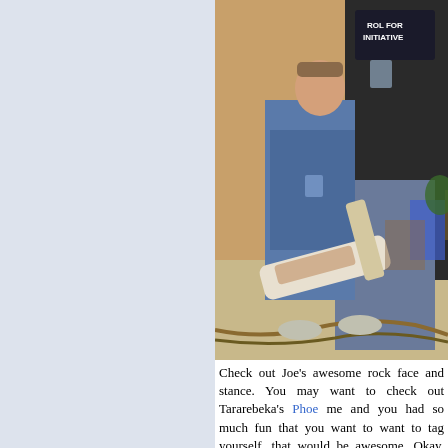[Figure (photo): Photo of people playing Guitar Hero or similar music game at what appears to be a convention. A man in a blue shirt strikes a rock pose while playing a guitar controller. Another person in a dark shirt reading 'Roll for Initiative' stands nearby. Cables and equipment visible on the floor.]
Check out Joe's awesome rock face and stance. You may want to check out Tararebeka's Phoe[nix Comicon photos], me and you had so much fun that you want to want to tag yourself, that would be awesome. Okay, next we have another angle on the now-